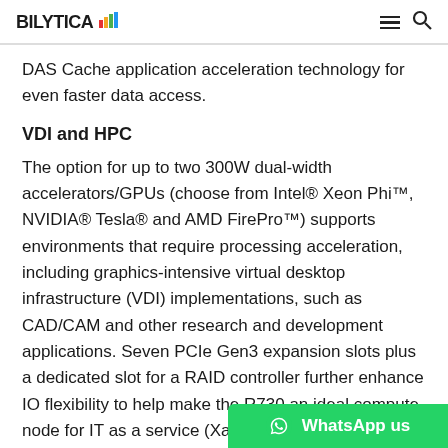BILYTICA [logo with bar chart icon] — navigation hamburger and search icons
DAS Cache application acceleration technology for even faster data access.
VDI and HPC
The option for up to two 300W dual-width accelerators/GPUs (choose from Intel® Xeon Phi™, NVIDIA® Tesla® and AMD FirePro™) supports environments that require processing acceleration, including graphics-intensive virtual desktop infrastructure (VDI) implementations, such as CAD/CAM and other research and development applications. Seven PCIe Gen3 expansion slots plus a dedicated slot for a RAID controller further enhance IO flexibility to help make the R730 an ideal compute node for IT as a service (Xaa high-performance computing (HPC) and medical-